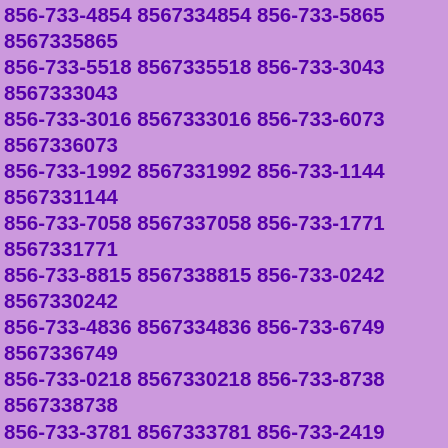856-733-4854 8567334854 856-733-5865 8567335865 856-733-5518 8567335518 856-733-3043 8567333043 856-733-3016 8567333016 856-733-6073 8567336073 856-733-1992 8567331992 856-733-1144 8567331144 856-733-7058 8567337058 856-733-1771 8567331771 856-733-8815 8567338815 856-733-0242 8567330242 856-733-4836 8567334836 856-733-6749 8567336749 856-733-0218 8567330218 856-733-8738 8567338738 856-733-3781 8567333781 856-733-2419 8567332419 856-733-7995 8567337995 856-733-5755 8567335755 856-733-5514 8567335514 856-733-6811 8567336811 856-733-9039 8567339039 856-733-8561 8567338561 856-733-8803 8567338803 856-733-4981 8567334981 856-733-4812 8567334812 856-733-4974 8567334974 856-733-8933 8567338933 856-733-3501 8567333501 856-733-3333 8567333333 856-733-5627 8567335627 856-733-4662 8567334662 856-733-2380 8567332380 856-733-7165 8567337165 856-733-3803 8567333803 856-733-2283 8567332283 856-733-6093 8567336093 856-733-6671 8567336671 856-733-5780 8567335780 856-733-6493 8567336493 856-733-9655 8567339655